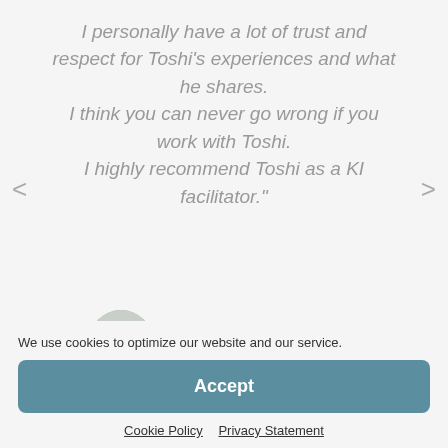I personally have a lot of trust and respect for Toshi's experiences and what he shares. I think you can never go wrong if you work with Toshi. I highly recommend Toshi as a KI facilitator."
[Figure (photo): Round avatar photo of Scott Kiloby]
Scott Kiloby
Co-Creator of the Kiloby Inquiries
We use cookies to optimize our website and our service.
Accept
Cookie Policy   Privacy Statement